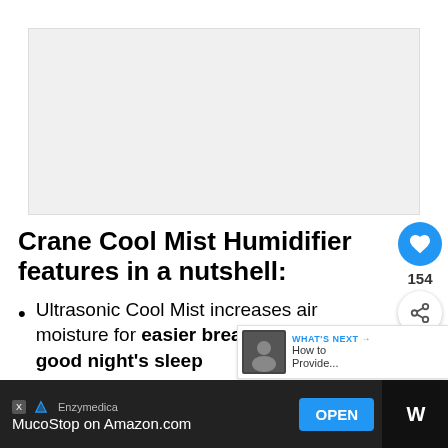[Figure (photo): Large image placeholder at top of article, light grey background]
Crane Cool Mist Humidifier features in a nutshell:
Ultrasonic Cool Mist increases air moisture for easier breathing and a good night’s sleep
[Figure (screenshot): What’s Next banner with thumbnail image, label reading WHAT’S NEXT → and text How to Provide...]
[Figure (screenshot): Advertisement bar at bottom: Enzymedica MucoStop on Amazon.com with OPEN button]